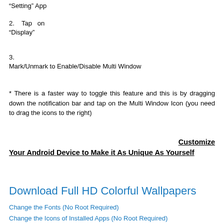"Setting" App
2.  Tap  on "Display"
3.
Mark/Unmark to Enable/Disable Multi Window
* There is a faster way to toggle this feature and this is by dragging down the notification bar and tap on the Multi Window Icon (you need to drag the icons to the right)
Customize Your Android Device to Make it As Unique As Yourself
Download Full HD Colorful Wallpapers
Change the Fonts (No Root Required)
Change the Icons of Installed Apps (No Root Required)